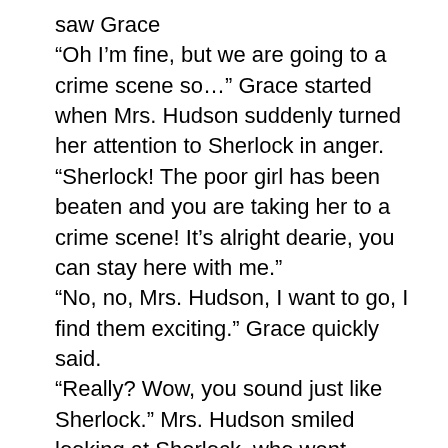saw Grace
“Oh I’m fine, but we are going to a crime scene so…” Grace started when Mrs. Hudson suddenly turned her attention to Sherlock in anger.
“Sherlock! The poor girl has been beaten and you are taking her to a crime scene! It’s alright dearie, you can stay here with me.”
“No, no, Mrs. Hudson, I want to go, I find them exciting.” Grace quickly said.
“Really? Wow, you sound just like Sherlock.” Mrs. Hudson smiled looking at Sherlock, who went outside. Then she looked at me, and I could see the look in her eyes. I shook my head but her smile just grew wider.
“Anyway, I need to borrow some makeup to cover these bruises.” Grace said but she wasn’t looking at Mrs. Hudson, she had watched Sherlock leave and she was still staring at the door.
“Oh yes, come on in dearie.” Mrs. Hudson replied, giving me one final smile before she led Grace into her